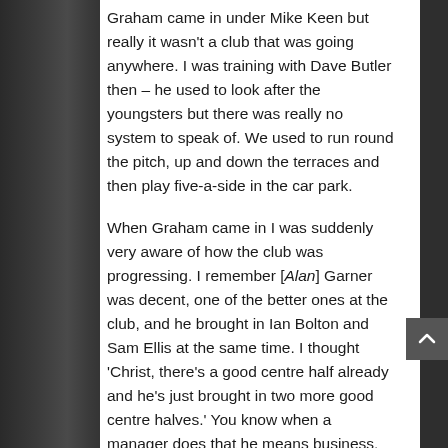Graham came in under Mike Keen but really it wasn't a club that was going anywhere. I was training with Dave Butler then – he used to look after the youngsters but there was really no system to speak of. We used to run round the pitch, up and down the terraces and then play five-a-side in the car park.
When Graham came in I was suddenly very aware of how the club was progressing. I remember [Alan] Garner was decent, one of the better ones at the club, and he brought in Ian Bolton and Sam Ellis at the same time. I thought 'Christ, there's a good centre half already and he's just brought in two more good centre halves.' You know when a manager does that he means business. Garner and Bolton kept Sam out of the team.
Sam played in the reserves. I won't be disrespectful to say they didn't have a youth policy, but Tom was just starting and he was putting it in place. I was 15 and playing in the